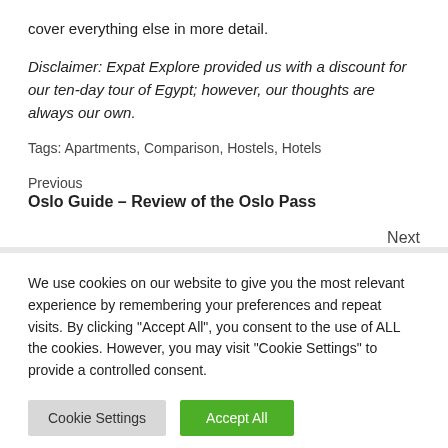cover everything else in more detail.
Disclaimer: Expat Explore provided us with a discount for our ten-day tour of Egypt; however, our thoughts are always our own.
Tags: Apartments, Comparison, Hostels, Hotels
Previous
Oslo Guide – Review of the Oslo Pass
Next
We use cookies on our website to give you the most relevant experience by remembering your preferences and repeat visits. By clicking "Accept All", you consent to the use of ALL the cookies. However, you may visit "Cookie Settings" to provide a controlled consent.
Cookie Settings
Accept All